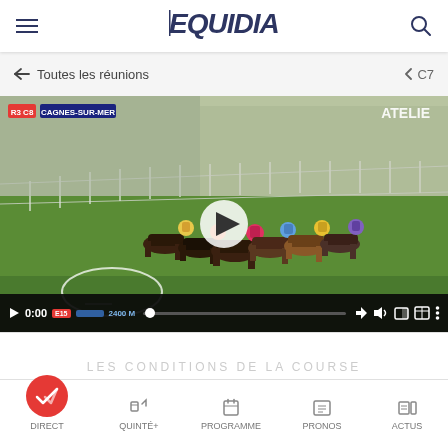EQUIDIA — navigation header with hamburger menu and search icon
← Toutes les réunions   < C7
[Figure (screenshot): Video player showing horse race at Cagnes-sur-Mer (R3 C8), horses racing on turf track with jockeys in colorful silks. Overlaid play button in center. Track oval diagram at lower left. Video controls bar with play button, 0:00 timestamp, E15 label, 2400 M distance, progress bar, and control icons.]
LES CONDITIONS DE LA COURSE
DIRECT   QUINTÉ+   PROGRAMME   PRONOS   ACTUS